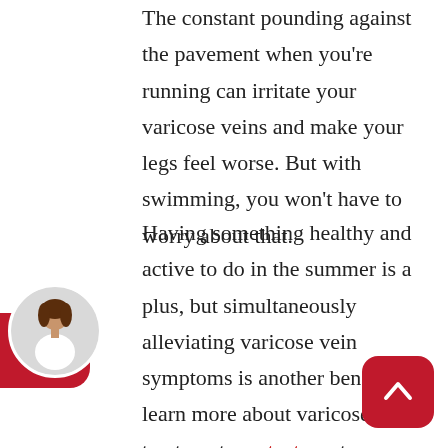The constant pounding against the pavement when you're running can irritate your varicose veins and make your legs feel worse. But with swimming, you won't have to worry about that.
Having something healthy and active to do in the summer is a plus, but simultaneously alleviating varicose vein symptoms is another benefit. To learn more about varicose vein treatment, contact us at our office today and call 817.235.0769.